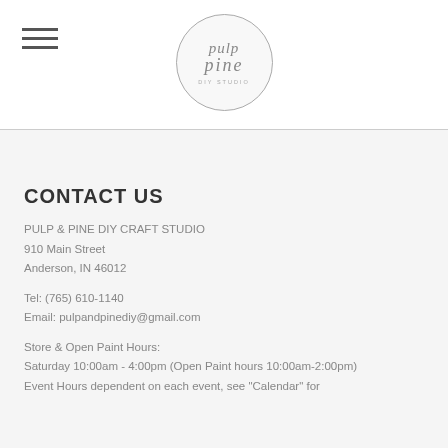[Figure (logo): Pulp & Pine DIY craft studio circular logo with cursive text]
CONTACT US
PULP & PINE DIY CRAFT STUDIO
910 Main Street
Anderson, IN 46012
Tel: (765) 610-1140
Email: pulpandpinediy@gmail.com
Store & Open Paint Hours:
Saturday 10:00am - 4:00pm (Open Paint hours 10:00am-2:00pm)
Event Hours dependent on each event, see "Calendar" for